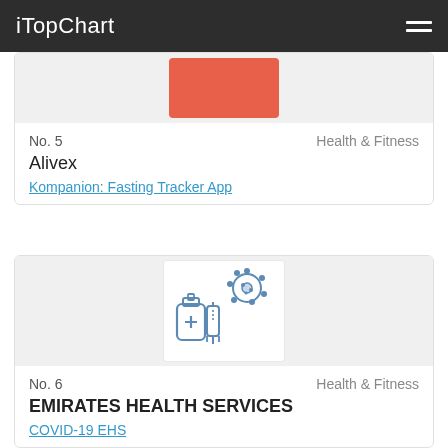iTopChart
[Figure (illustration): Red/orange rectangle representing app icon for Alivex / Kompanion Fasting Tracker App]
No. 5    Health & Fitness
Alivex
Kompanion: Fasting Tracker App
[Figure (illustration): App icon showing a vaccine bottle with a medical cross, a syringe, and a coronavirus particle in blue outline style]
No. 6    Health & Fitness
EMIRATES HEALTH SERVICES
COVID-19 EHS